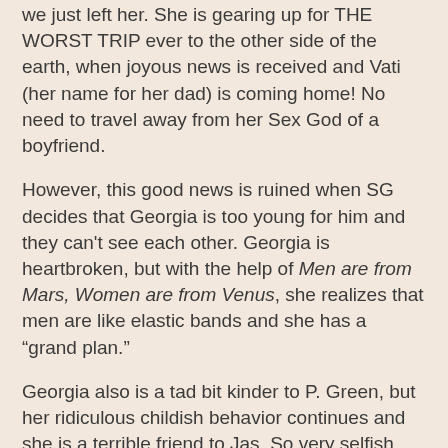we just left her. She is gearing up for THE WORST TRIP ever to the other side of the earth, when joyous news is received and Vati (her name for her dad) is coming home! No need to travel away from her Sex God of a boyfriend.
However, this good news is ruined when SG decides that Georgia is too young for him and they can't see each other. Georgia is heartbroken, but with the help of Men are from Mars, Women are from Venus, she realizes that men are like elastic bands and she has a “grand plan.”
Georgia also is a tad bit kinder to P. Green, but her ridiculous childish behavior continues and she is a terrible friend to Jas. So very selfish, but aren't we all at 14. Full of dramatics and Georgia's ridiculous ability to get herself wrapped up in the most bizarre situations or stories. A great quick read and for sure a great laugh!
Don't forget to vote for the January Group Read (poll on the side)!!!
Also, don't forget to vote for what books I should read in